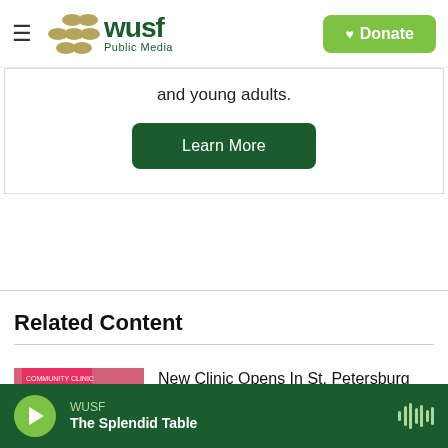WUSF Public Media | Donate
and young adults.
Learn More
Related Content
[Figure (photo): Group of people at a ribbon cutting ceremony inside a clinic, with a pink ribbon being cut.]
New Clinic Opens In St. Petersburg Ahead Of National HIV Testing Day
WUSF | The Splendid Table